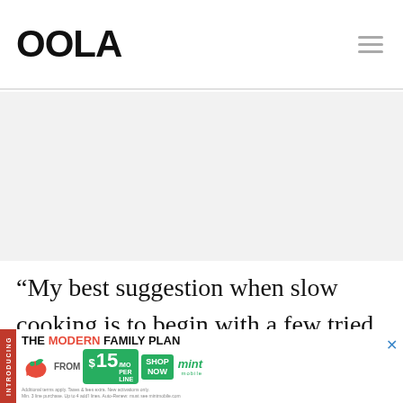OOLA
[Figure (other): Gray placeholder content area]
“My best suggestion when slow cooking is to begin with a few tried and true recipes from a trusted source. And, then after you have your own machine figured out, you can
[Figure (infographic): Mint Mobile ad banner: INTRODUCING THE MODERN FAMILY PLAN $15/MO PER LINE FROM SHOP NOW mint mobile]